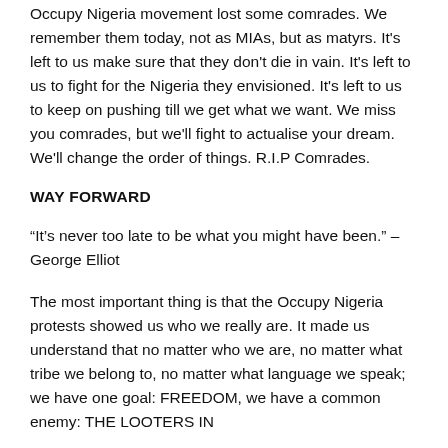Occupy Nigeria movement lost some comrades. We remember them today, not as MIAs, but as matyrs. It's left to us make sure that they don't die in vain. It's left to us to fight for the Nigeria they envisioned. It's left to us to keep on pushing till we get what we want. We miss you comrades, but we'll fight to actualise your dream. We'll change the order of things. R.I.P Comrades.
WAY FORWARD
“It’s never too late to be what you might have been.” – George Elliot
The most important thing is that the Occupy Nigeria protests showed us who we really are. It made us understand that no matter who we are, no matter what tribe we belong to, no matter what language we speak; we have one goal: FREEDOM, we have a common enemy: THE LOOTERS IN